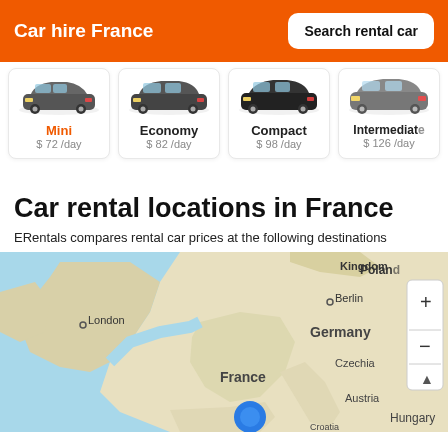Car hire France | Search rental car
[Figure (other): Car category cards row showing Mini $72/day, Economy $82/day, Compact $98/day, Intermediate $126/day with car images]
Car rental locations in France
ERentals compares rental car prices at the following destinations
[Figure (map): Map of Western Europe showing UK, France, Germany, Poland, Czechia, Austria, Hungary, Croatia with a blue location pin on France. London and Berlin marked. Map controls (+/-) visible on right.]